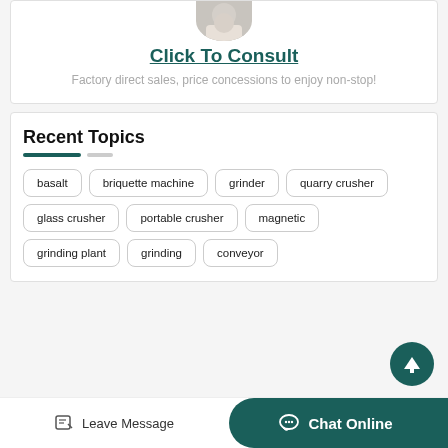[Figure (photo): Partial avatar/profile image of a person at the top of a card]
Click To Consult
Factory direct sales, price concessions to enjoy non-stop!
Recent Topics
basalt
briquette machine
grinder
quarry crusher
glass crusher
portable crusher
magnetic
grinding plant
grinding
conveyor
Leave Message
Chat Online